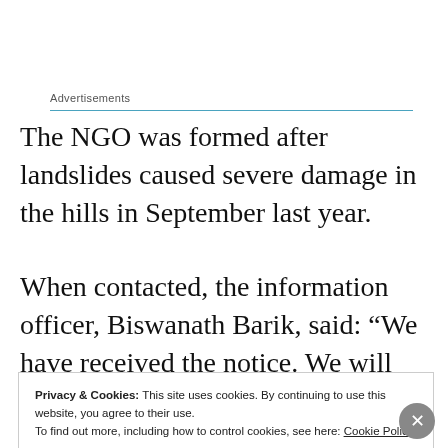Advertisements
The NGO was formed after landslides caused severe damage in the hills in September last year.
When contacted, the information officer, Biswanath Barik, said: “We have received the notice. We will respond to it in the next three-four days.”
Privacy & Cookies: This site uses cookies. By continuing to use this website, you agree to their use.
To find out more, including how to control cookies, see here: Cookie Policy
Close and accept